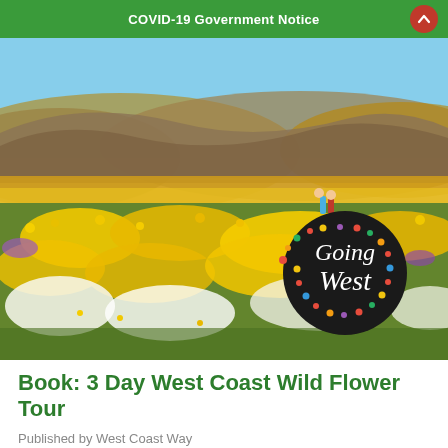COVID-19 Government Notice
[Figure (photo): A vast field of wild flowers — yellow daisies, white daisies, and purple flowers — stretching across a landscape with brown hills in the background under a blue sky. Two people stand in the distance among the flowers. A 'Going West' logo badge overlays the bottom-right of the image.]
Book: 3 Day West Coast Wild Flower Tour
Published by West Coast Way